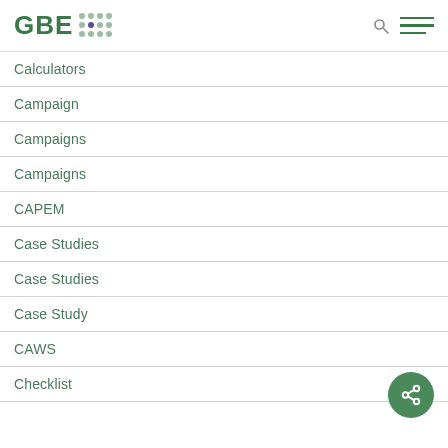GBE
Calculators
Campaign
Campaigns
Campaigns
CAPEM
Case Studies
Case Studies
Case Study
CAWS
Checklist